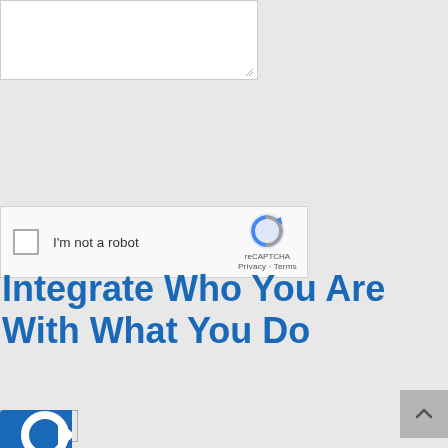[Figure (screenshot): Textarea input box with resize handle at bottom right]
[Figure (screenshot): reCAPTCHA widget with checkbox, I'm not a robot label, reCAPTCHA logo, Privacy and Terms links]
Submit
Integrate Who You Are With What You Do
[Figure (logo): Blue icon partially visible at bottom left]
[Figure (screenshot): Back to top arrow button at bottom right]